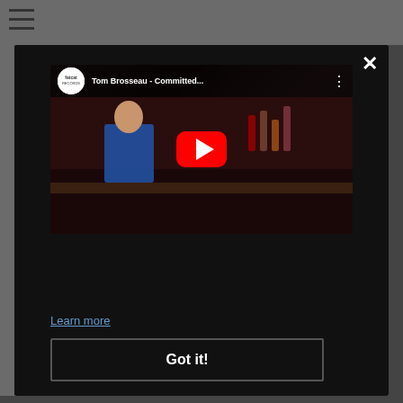[Figure (screenshot): Hamburger menu icon (three horizontal lines) in top-left corner on gray background]
[Figure (screenshot): YouTube video player embedded in a dark modal overlay showing 'Tom Brosseau - Committed...' with a bar scene thumbnail, fatcat Records logo, play button, close (x) button, 'Learn more' link, and 'Got it!' button at the bottom]